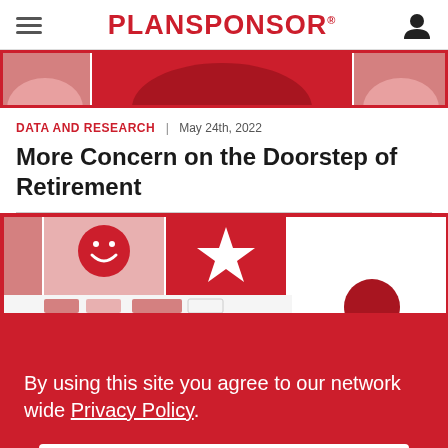PLANSPONSOR
[Figure (illustration): Decorative article header image strip with red and pink shapes]
DATA AND RESEARCH | May 24th, 2022
More Concern on the Doorstep of Retirement
[Figure (illustration): Partial article illustration showing icons: smiley face, star, and other shapes in red and pink on white background, partially obscured by cookie banner]
By using this site you agree to our network wide Privacy Policy.
OK, GOT IT